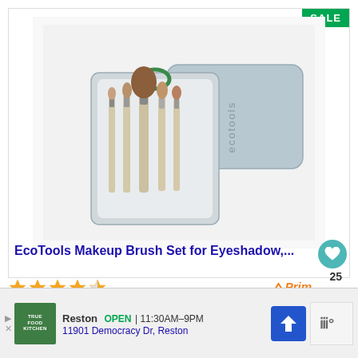[Figure (photo): EcoTools makeup brush set with 5 brushes in an open silver tin case, showing the lid with EcoTools branding and a green loop hanger]
SALE
EcoTools Makeup Brush Set for Eyeshadow,...
★★★★½
✓Prime
25
$9.98
Reston   OPEN | 11:30AM–9PM
11901 Democracy Dr, Reston